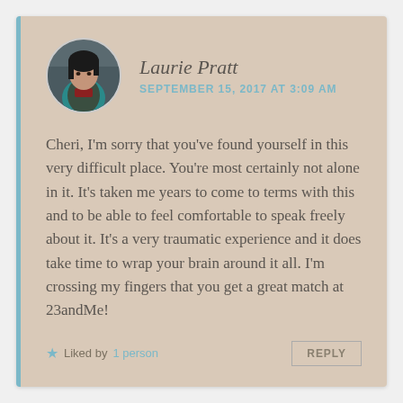[Figure (photo): Circular avatar photo of Laurie Pratt, a woman with dark hair]
Laurie Pratt
SEPTEMBER 15, 2017 AT 3:09 AM
Cheri, I'm sorry that you've found yourself in this very difficult place. You're most certainly not alone in it. It's taken me years to come to terms with this and to be able to feel comfortable to speak freely about it. It's a very traumatic experience and it does take time to wrap your brain around it all. I'm crossing my fingers that you get a great match at 23andMe!
★ Liked by 1 person
REPLY